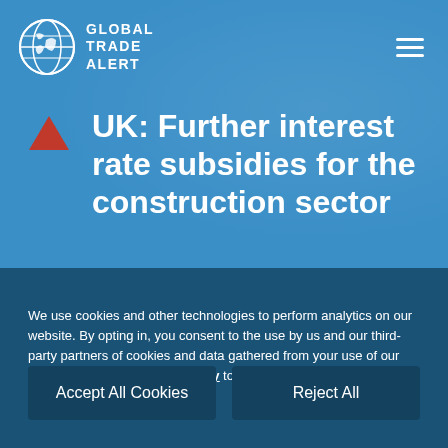[Figure (logo): Global Trade Alert globe logo with circular border]
GLOBAL TRADE ALERT
UK: Further interest rate subsidies for the construction sector
We use cookies and other technologies to perform analytics on our website. By opting in, you consent to the use by us and our third-party partners of cookies and data gathered from your use of our platform. See our Privacy Policy to learn more about the use of data and your rights.
Accept All Cookies
Reject All